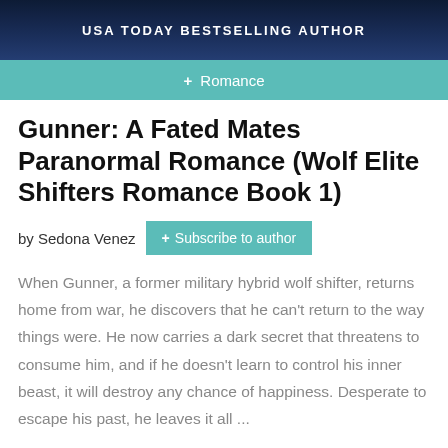[Figure (illustration): Dark blue banner with text 'USA TODAY BESTSELLING AUTHOR' in white uppercase letters]
+ Romance
Gunner: A Fated Mates Paranormal Romance (Wolf Elite Shifters Romance Book 1)
by Sedona Venez
+ Subscribe to author
When Gunner, a former military hybrid wolf shifter, returns home from war, he discovers that he can't return to the way things were. He now carries a dark secret that threatens to consume him, and if he doesn't learn to control his inner beast, it will destroy any chance of happiness. Desperate to escape his past, he leaves it all ...
FREE £2.99